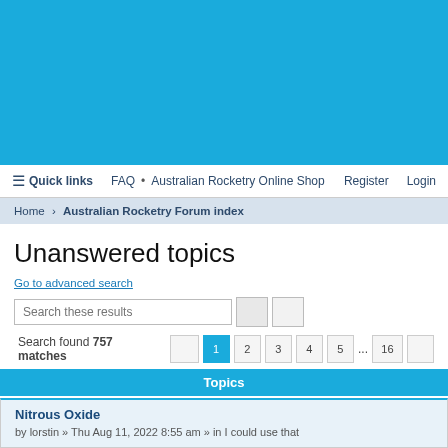[Figure (other): Blue banner header area for Australian Rocketry website]
≡ Quick links   FAQ • Australian Rocketry Online Shop   Register   Login
Home › Australian Rocketry Forum index
Unanswered topics
Go to advanced search
Search these results
Search found 757 matches   1 2 3 4 5 ... 16
Topics
Nitrous Oxide
by lorstin » Thu Aug 11, 2022 8:55 am » in I could use that
CRG's August HPR Launch at Ardlethan Cancelled